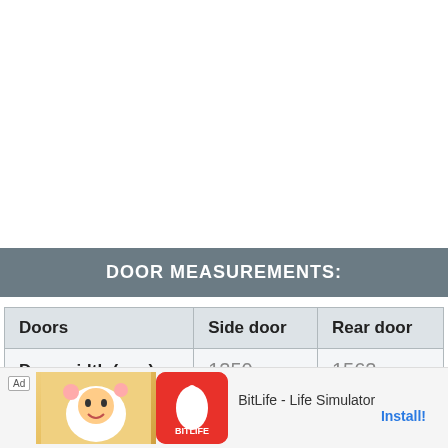DOOR MEASUREMENTS:
| Doors | Side door | Rear door |
| --- | --- | --- |
| Door width (mm) | 1250 | 1562 |
| Door… |  |  |
| Door… |  |  |
[Figure (screenshot): Mobile advertisement overlay for BitLife - Life Simulator app showing Ad badge, cartoon character image, BitLife red icon, app name, and Install button]